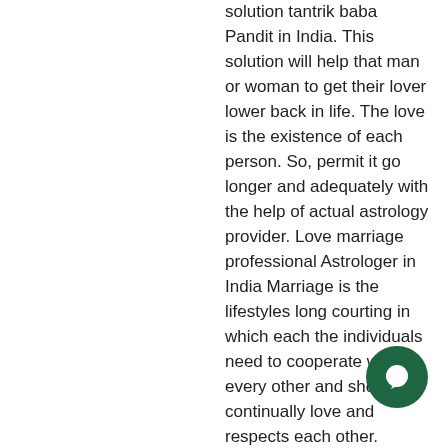solution tantrik baba Pandit in India. This solution will help that man or woman to get their lover lower back in life. The love is the existence of each person. So, permit it go longer and adequately with the help of actual astrology provider. Love marriage professional Astrologer in India Marriage is the lifestyles long courting in which each the individuals need to cooperate with every other and should continually love and respects each other.
How do I get the solutions for husband/wife disputes In Dwarka Vasant Kunj Mayur Vihar Uttam Nagar Delhi Call/Whatsapp on +91 8306019190 Pt. N. K. Shastri Ji -
Love is a valuable gift of God and the person that love the opposite constantly want to marry each different however love marriage in India still a very huge component that the very few human beings still do no longer receive the affection marriage. When a
[Figure (other): Green circular chat bubble icon in bottom right corner]